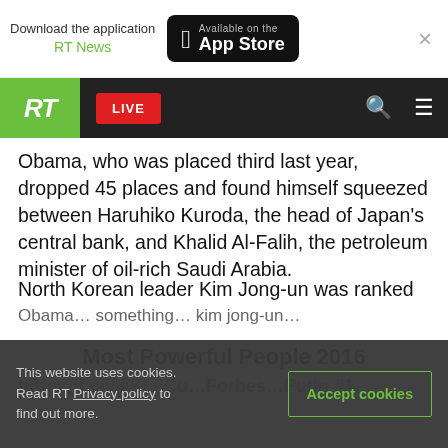Download the application RT News | Available on the App Store
RT LIVE
Obama, who was placed third last year, dropped 45 places and found himself squeezed between Haruhiko Kuroda, the head of Japan's central bank, and Khalid Al-Falih, the petroleum minister of oil-rich Saudi Arabia.
North Korean leader Kim Jong-un was ranked above Obama, retaining his 43th place.
Most Powerful People 2016
This website uses cookies. Read RT Privacy policy to find out more.